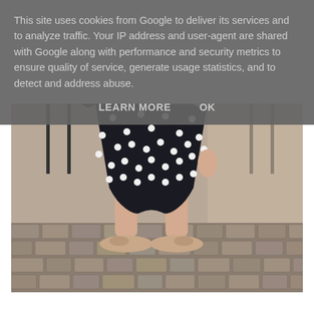This site uses cookies from Google to deliver its services and to analyze traffic. Your IP address and user-agent are shared with Google along with performance and security metrics to ensure quality of service, generate usage statistics, and to detect and address abuse.
LEARN MORE    OK
[Figure (photo): Photo of person's lower body wearing a black polka-dot dress/skirt and beige/pink sneakers with bow, standing on cobblestone pavement. Chairs visible in background.]